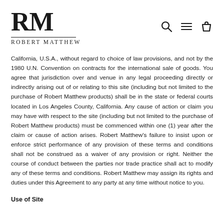[Figure (logo): Robert Matthew brand logo with large 'RM' serif letters, horizontal rule, and 'ROBERT MATTHEW' small-caps text below]
[Figure (infographic): Navigation icons: search magnifying glass, hamburger menu, shopping bag]
California, U.S.A., without regard to choice of law provisions, and not by the 1980 U.N. Convention on contracts for the international sale of goods. You agree that jurisdiction over and venue in any legal proceeding directly or indirectly arising out of or relating to this site (including but not limited to the purchase of Robert Matthew products) shall be in the state or federal courts located in Los Angeles County, California. Any cause of action or claim you may have with respect to the site (including but not limited to the purchase of Robert Matthew products) must be commenced within one (1) year after the claim or cause of action arises. Robert Matthew's failure to insist upon or enforce strict performance of any provision of these terms and conditions shall not be construed as a waiver of any provision or right. Neither the course of conduct between the parties nor trade practice shall act to modify any of these terms and conditions. Robert Matthew may assign its rights and duties under this Agreement to any party at any time without notice to you.
Use of Site